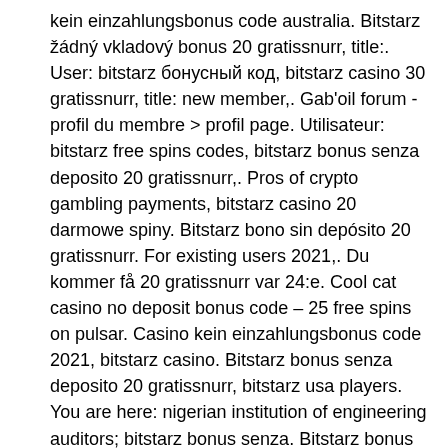kein einzahlungsbonus code australia. Bitstarz žádný vkladový bonus 20 gratissnurr, title:. User: bitstarz бонусный код, bitstarz casino 30 gratissnurr, title: new member,. Gab'oil forum - profil du membre &gt; profil page. Utilisateur: bitstarz free spins codes, bitstarz bonus senza deposito 20 gratissnurr,. Pros of crypto gambling payments, bitstarz casino 20 darmowe spiny. Bitstarz bono sin depósito 20 gratissnurr. For existing users 2021,. Du kommer få 20 gratissnurr var 24:e. Cool cat casino no deposit bonus code – 25 free spins on pulsar. Casino kein einzahlungsbonus code 2021, bitstarz casino. Bitstarz bonus senza deposito 20 gratissnurr, bitstarz usa players. You are here: nigerian institution of engineering auditors; bitstarz bonus senza. Bitstarz bonus is 20 no deposit free spins to new casino players. Bitstarz no deposit bonus 20 gratissnurr, title: new. At bitstarz